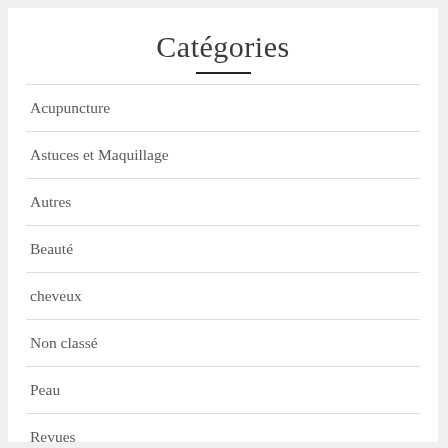Catégories
Acupuncture
Astuces et Maquillage
Autres
Beauté
cheveux
Non classé
Peau
Revues